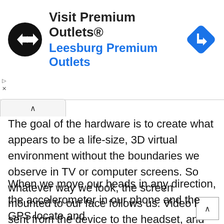[Figure (advertisement): Ad banner for Visit Premium Outlets® - Leesburg Premium Outlets, with logo (black circle with double-arrow icon) and a blue diamond navigation icon]
The goal of the hardware is to create what appears to be a life-size, 3D virtual environment without the boundaries we observe in TV or computer screens. So whatever way we look, the screen mounted to our face follows us. Video is sent from the device to the headset, and the headsets, in return, might either use two feeds sent to one display or two LCDs, one per eye.
When we move our heads in any direction, the accelerometer in our phone and the GPS locate and